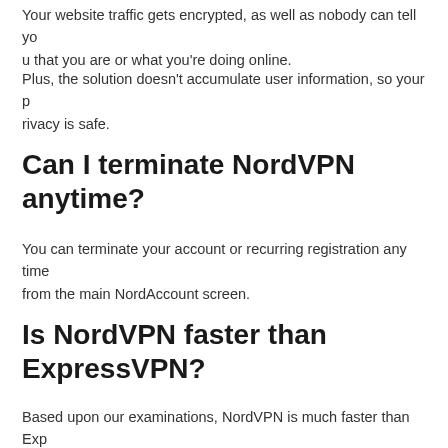Your website traffic gets encrypted, as well as nobody can tell you that you are or what you're doing online.
Plus, the solution doesn't accumulate user information, so your privacy is safe.
Can I terminate NordVPN anytime?
You can terminate your account or recurring registration any time from the main NordAccount screen.
Is NordVPN faster than ExpressVPN?
Based upon our examinations, NordVPN is much faster than Exp